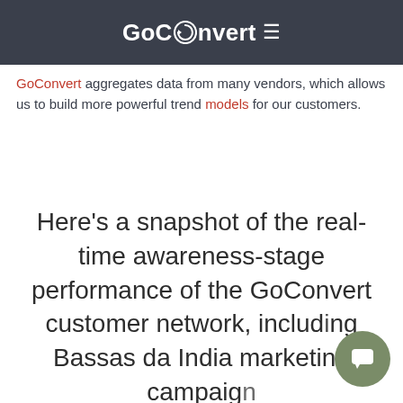GoConvert
GoConvert aggregates data from many vendors, which allows us to build more powerful trend models for our customers.
Here's a snapshot of the real-time awareness-stage performance of the GoConvert customer network, including Bassas da India marketing campaigns